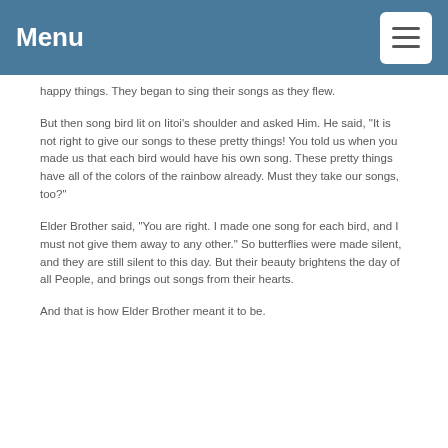Menu
happy things. They began to sing their songs as they flew.
But then song bird lit on Iitoi’s shoulder and asked Him. He said, “It is not right to give our songs to these pretty things! You told us when you made us that each bird would have his own song. These pretty things have all of the colors of the rainbow already. Must they take our songs, too?”
Elder Brother said, “You are right. I made one song for each bird, and I must not give them away to any other.” So butterflies were made silent, and they are still silent to this day. But their beauty brightens the day of all People, and brings out songs from their hearts.
And that is how Elder Brother meant it to be.